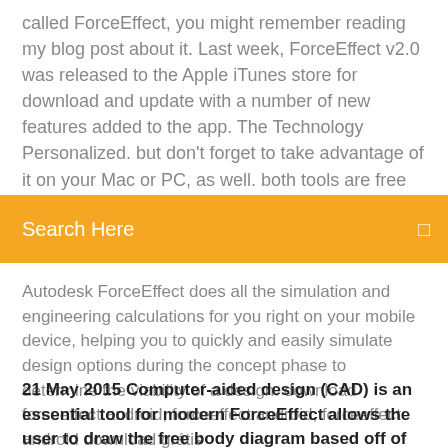called ForceEffect, you might remember reading my blog post about it. Last week, ForceEffect v2.0 was released to the Apple iTunes store for download and update with a number of new features added to the app. The Technology Personalized. but don't forget to take advantage of it on your Mac or PC, as well. both tools are free to download from the iTunes Store or from
Search Here
Autodesk ForceEffect does all the simulation and engineering calculations for you right on your mobile device, helping you to quickly and easily simulate design options during the concept phase to determine the viability of a design. download forceeffect android, forceeffect android, forceeffect android download grátis
21 May 2015 Computer-aided design (CAD) is an essential tool for modern ForceEffect allows the user to draw the free body diagram based off of an